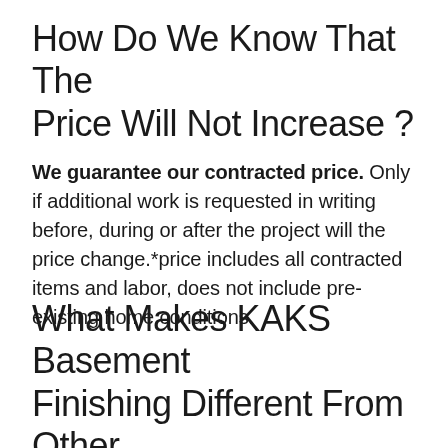How Do We Know That The Price Will Not Increase ?
We guarantee our contracted price. Only if additional work is requested in writing before, during or after the project will the price change.*price includes all contracted items and labor, does not include pre-existing home conditions.
What Makes KAKS Basement Finishing Different From Other Companies ?